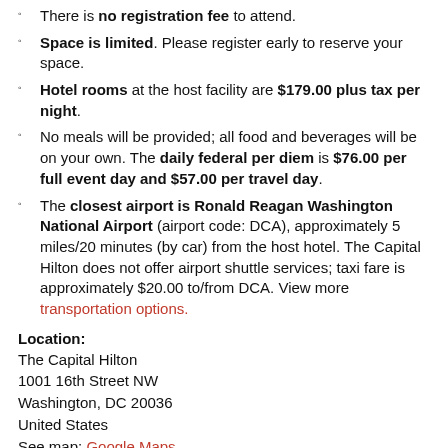There is no registration fee to attend.
Space is limited. Please register early to reserve your space.
Hotel rooms at the host facility are $179.00 plus tax per night.
No meals will be provided; all food and beverages will be on your own. The daily federal per diem is $76.00 per full event day and $57.00 per travel day.
The closest airport is Ronald Reagan Washington National Airport (airport code: DCA), approximately 5 miles/20 minutes (by car) from the host hotel. The Capital Hilton does not offer airport shuttle services; taxi fare is approximately $20.00 to/from DCA. View more transportation options.
Location:
The Capital Hilton
1001 16th Street NW
Washington, DC 20036
United States
See map: Google Maps
Event URL: